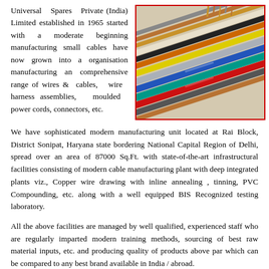Universal Spares Private (India) Limited established in 1965 started with a moderate beginning manufacturing small cables have now grown into a organisation manufacturing an comprehensive range of wires & cables, wire harness assemblies, moulded power cords, connectors, etc.
[Figure (photo): Photo of multiple coloured electrical wires and cables bundled together, showing copper conductors and various coloured insulation sheaths including red, yellow, green, blue, teal, grey and brown.]
We have sophisticated modern manufacturing unit located at Rai Block, District Sonipat, Haryana state bordering National Capital Region of Delhi, spread over an area of 87000 Sq.Ft. with state-of-the-art infrastructural facilities consisting of modern cable manufacturing plant with deep integrated plants viz., Copper wire drawing with inline annealing , tinning, PVC Compounding, etc. along with a well equipped BIS Recognized testing laboratory.
All the above facilities are managed by well qualified, experienced staff who are regularly imparted modern training methods, sourcing of best raw material inputs, etc. and producing quality of products above par which can be compared to any best brand available in India / abroad.